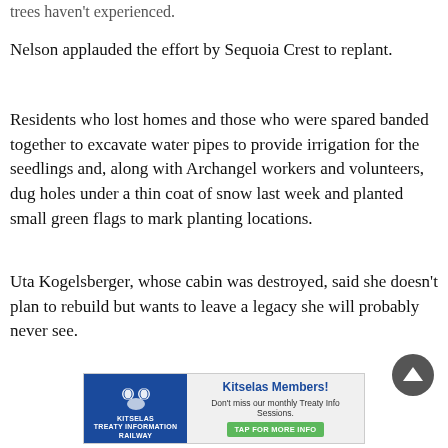trees haven't experienced.
Nelson applauded the effort by Sequoia Crest to replant.
Residents who lost homes and those who were spared banded together to excavate water pipes to provide irrigation for the seedlings and, along with Archangel workers and volunteers, dug holes under a thin coat of snow last week and planted small green flags to mark planting locations.
Uta Kogelsberger, whose cabin was destroyed, said she doesn't plan to rebuild but wants to leave a legacy she will probably never see.
[Figure (other): Kitselas Members advertisement banner with blue left panel showing Kitselas logo and white text, and grey right panel with bold blue title 'Kitselas Members!', subtitle 'Don't miss our monthly Treaty Info Sessions.', and green 'TAP FOR MORE INFO' button.]